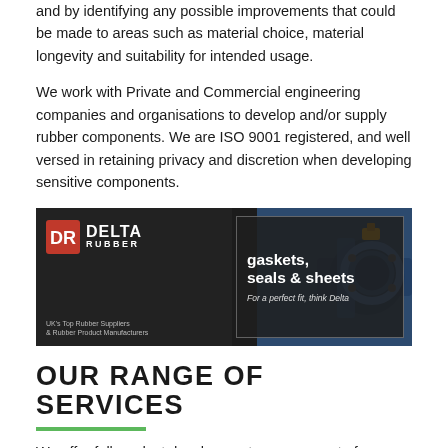and by identifying any possible improvements that could be made to areas such as material choice, material longevity and suitability for intended usage.
We work with Private and Commercial engineering companies and organisations to develop and/or supply rubber components. We are ISO 9001 registered, and well versed in retaining privacy and discretion when developing sensitive components.
[Figure (photo): Delta Rubber advertisement banner showing logo on dark background with text 'gaskets, seals & sheets – For a perfect fit, think Delta' and industrial pipe fittings photograph]
OUR RANGE OF SERVICES
We offer full product development, procurement of...